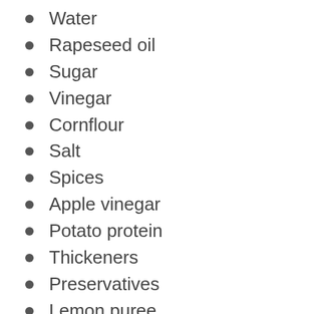Water
Rapeseed oil
Sugar
Vinegar
Cornflour
Salt
Spices
Apple vinegar
Potato protein
Thickeners
Preservatives
Lemon puree
Garlic puree